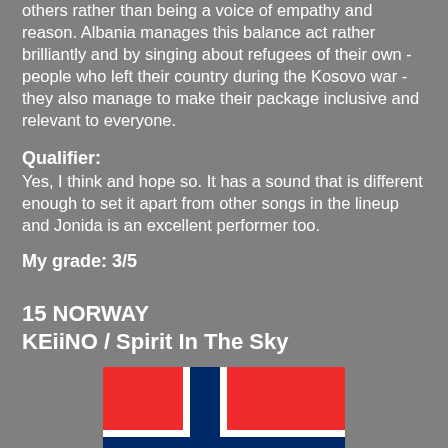others rather than being a voice of empathy and reason. Albania manages this balance act rather brilliantly and by singing about refugees of their own - people who left their country during the Kosovo war - they also manage to make their package inclusive and relevant to everyone.
Qualifier:
Yes, I think and hope so. It has a sound that is different enough to set it apart from other songs in the lineup and Jonida is an excellent performer too.
My grade: 3/5
15 NORWAY
KEiiNO / Spirit In The Sky
[Figure (illustration): Norwegian flag - red background with blue and white Nordic cross]